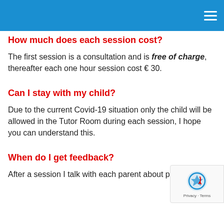How much does each session cost?
The first session is a consultation and is free of charge, thereafter each one hour session cost € 30.
Can I stay with my child?
Due to the current Covid-19 situation only the child will be allowed in the Tutor Room during each session, I hope you can understand this.
When do I get feedback?
After a session I talk with each parent about progress and